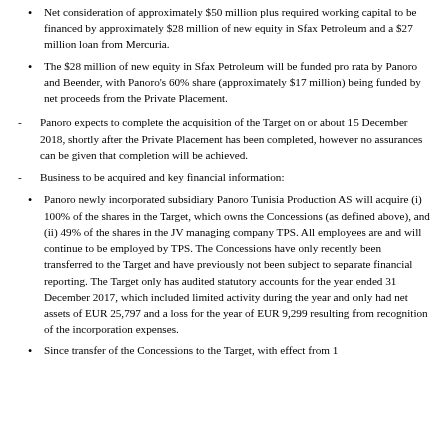Net consideration of approximately $50 million plus required working capital to be financed by approximately $28 million of new equity in Sfax Petroleum and a $27 million loan from Mercuria.
The $28 million of new equity in Sfax Petroleum will be funded pro rata by Panoro and Beender, with Panoro's 60% share (approximately $17 million) being funded by net proceeds from the Private Placement.
- Panoro expects to complete the acquisition of the Target on or about 15 December 2018, shortly after the Private Placement has been completed, however no assurances can be given that completion will be achieved.
- Business to be acquired and key financial information:
Panoro newly incorporated subsidiary Panoro Tunisia Production AS will acquire (i) 100% of the shares in the Target, which owns the Concessions (as defined above), and (ii) 49% of the shares in the JV managing company TPS. All employees are and will continue to be employed by TPS. The Concessions have only recently been transferred to the Target and have previously not been subject to separate financial reporting. The Target only has audited statutory accounts for the year ended 31 December 2017, which included limited activity during the year and only had net assets of EUR 25,797 and a loss for the year of EUR 9,299 resulting from recognition of the incorporation expenses.
Since transfer of the Concessions to the Target, with effect from 1